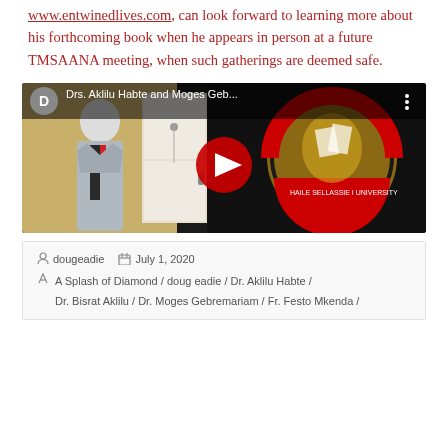www.entwinedlives.com, can look forward to learning more about his forthcoming book when he appears in person at a future TMSAANA meeting, when such gatherings are deemed safe.
[Figure (screenshot): YouTube video thumbnail showing a man in a suit standing next to the Haile Sellassie University seal/emblem on a black background. Video title reads 'Drs. Aklilu Habte and Moges Geb...' with a red play button overlay.]
dougeadie   July 1, 2020   A Splash of Diamond / doug eadie / Dr. Aklilu Habte / Dr. Bisrat Aklilu / Dr. Moges Gebremariam / Fr. Festo Mkenda /